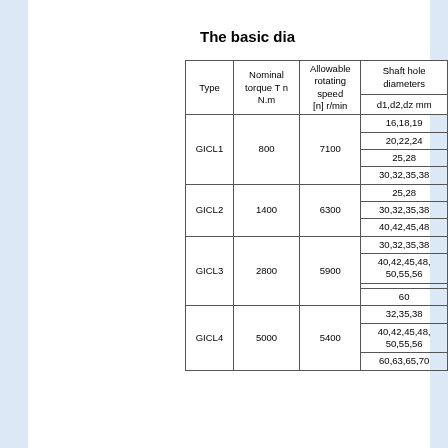The basic dia
| Type | Nominal torque Tn N.m | Allowable rotating speed [n] r/min | Shaft hole diameters d1,d2,dz mm |
| --- | --- | --- | --- |
| GICL1 | 800 | 7100 | 16,18,19 |
|  |  |  | 20,22,24 |
|  |  |  | 25,28 |
|  |  |  | 30,32,35,38 |
| GICL2 | 1400 | 6300 | 25,28 |
|  |  |  | 30,32,35,38 |
|  |  |  | 40,42,45,48 |
| GICL3 | 2800 | 5900 | 30,32,35,38 |
|  |  |  | 40,42,45,48,50,55,56 |
|  |  |  | 60 |
| GICL4 | 5000 | 5400 | 32,35,38 |
|  |  |  | 40,42,45,48,50,55,56 |
|  |  |  | 60,63,65,70 |